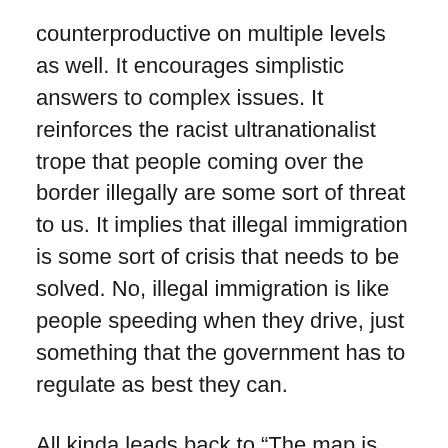counterproductive on multiple levels as well. It encourages simplistic answers to complex issues. It reinforces the racist ultranationalist trope that people coming over the border illegally are some sort of threat to us. It implies that illegal immigration is some sort of crisis that needs to be solved. No, illegal immigration is like people speeding when they drive, just something that the government has to regulate as best they can.
All kinda leads back to “The map is not the territory.” This is why I reject all dogmatic ideology and religion, it's painfully clear by now that there are no ideological/religious solutions to humanities’ challenges. Or to be fair, none that have been discovered yet. I think it's time to try, idk, science and reason? I think they are the best bet at deciding how to move forward. Is there some problem with solutions that are reasonable and science